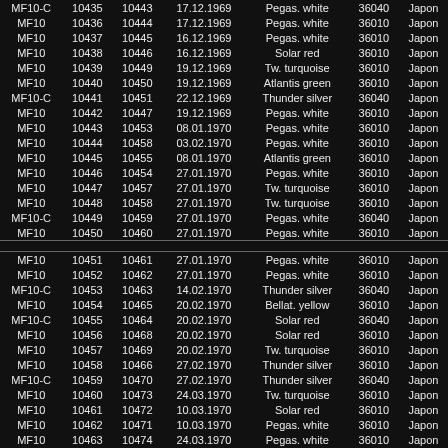| Type | Num1 | Num2 | Date | Color | Code | Country |
| --- | --- | --- | --- | --- | --- | --- |
| MF10-C | 10435 | 10443 | 17.12.1969 | Pegas. white | 36040 | Japon |
| MF10 | 10436 | 10444 | 17.12.1969 | Pegas. white | 36010 | Japon |
| MF10 | 10437 | 10445 | 16.12.1969 | Pegas. white | 36010 | Japon |
| MF10 | 10438 | 10446 | 16.12.1969 | Solar red | 36010 | Japon |
| MF10 | 10439 | 10449 | 19.12.1969 | Tw. turquoise | 36010 | Japon |
| MF10 | 10440 | 10450 | 19.12.1969 | Atlantis green | 36010 | Japon |
| MF10-C | 10441 | 10451 | 22.12.1969 | Thunder silver | 36040 | Japon |
| MF10 | 10442 | 10447 | 19.12.1969 | Pegas. white | 36010 | Japon |
| MF10 | 10443 | 10453 | 08.01.1970 | Pegas. white | 36010 | Japon |
| MF10 | 10444 | 10458 | 03.02.1970 | Pegas. white | 36010 | Japon |
| MF10 | 10445 | 10455 | 08.01.1970 | Atlantis green | 36010 | Japon |
| MF10 | 10446 | 10454 | 27.01.1970 | Pegas. white | 36010 | Japon |
| MF10 | 10447 | 10457 | 27.01.1970 | Tw. turquoise | 36010 | Japon |
| MF10 | 10448 | 10458 | 27.01.1970 | Tw. turquoise | 36010 | Japon |
| MF10-C | 10449 | 10459 | 27.01.1970 | Pegas. white | 36040 | Japon |
| MF10 | 10450 | 10460 | 27.01.1970 | Pegas. white | 36010 | Japon |
| ---divider--- |
| MF10 | 10451 | 10461 | 27.01.1970 | Pegas. white | 36010 | Japon |
| MF10 | 10452 | 10462 | 27.01.1970 | Pegas. white | 36010 | Japon |
| MF10-C | 10453 | 10463 | 14.02.1970 | Thunder silver | 36040 | Japon |
| MF10 | 10454 | 10465 | 20.02.1970 | Bellat. yellow | 36010 | Japon |
| MF10-C | 10455 | 10464 | 20.02.1970 | Solar red | 36040 | Japon |
| MF10 | 10456 | 10468 | 20.02.1970 | Solar red | 36010 | Japon |
| MF10 | 10457 | 10469 | 20.02.1970 | Tw. turquoise | 36010 | Japon |
| MF10 | 10458 | 10466 | 27.02.1970 | Thunder silver | 36010 | Japon |
| MF10-C | 10459 | 10470 | 27.02.1970 | Thunder silver | 36040 | Japon |
| MF10 | 10460 | 10473 | 24.03.1970 | Tw. turquoise | 36010 | Japon |
| MF10 | 10461 | 10472 | 10.03.1970 | Solar red | 36010 | Japon |
| MF10 | 10462 | 10471 | 10.03.1970 | Pegas. white | 36010 | Japon |
| MF10 | 10463 | 10474 | 24.03.1970 | Pegas. white | 36010 | Japon |
| MF10 | 10464 | 10477 | 24.03.1970 | Pegas. white | 36010 | Japon |
| MF10 | 10465 | 10475 | 24.03.1970 | Tw. turquoise | 36010 | Japon |
| MF10 | 10466 | 10476 | 10.04.1970 | Atlantis green | 36010 | Japon |
| MF10 | 10467 | 10478 | 25.04.1970 | Thunder silver | 36010 | Japon |
| MF10 | 10468 | 10484 | 10.04.1970 | Pegas. white | 36010 | Japon |
| MF10 | 10469 | 10479 | 10.04.1970 | Pegas. white | 36010 | Japon |
| MF10-C | 10470 | 10480 | 21.04.1970 | Solar red | 36040 | Japon |